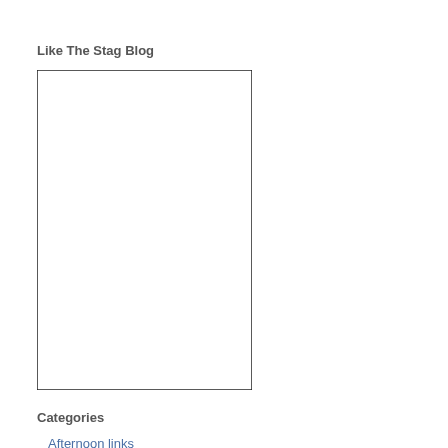Like The Stag Blog
[Figure (other): Empty white rectangle with black border, representing a Facebook Like Box widget placeholder for The Stag Blog]
Categories
Afternoon links